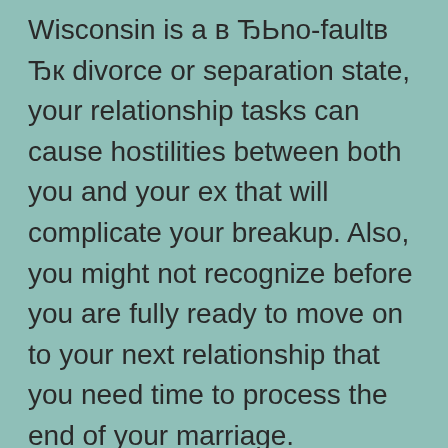Wisconsin is a «no-fault» divorce or separation state, your relationship tasks can cause hostilities between both you and your ex that will complicate your breakup. Also, you might not recognize before you are fully ready to move on to your next relationship that you need time to process the end of your marriage. Everything you state in your on line profile when you’re nevertheless emotionally entrenched in your divorce or separation is almost certainly not your presentation that is best, however it’s on the market within the general general public attention. By continuing to keep your focus and power within one spot